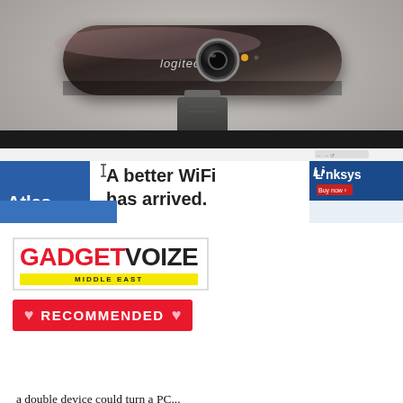[Figure (photo): Logitech BRIO webcam mounted on top of a computer monitor. The webcam is a dark, rounded rectangular device with a lens and LED. The monitor displays a web browser with a Linksys WiFi advertisement reading 'A better WiFi has arrived.' and the Atlas logo on a blue sidebar.]
[Figure (logo): GadgetVoize Middle East logo in a box outline, with GADGET in red and VOIZE in black. Below is a yellow bar reading MIDDLE EAST and a red banner with hearts reading RECOMMENDED.]
The pandemic has changed how we work today. Many of us are still working from home and will continue to work from home for the foreseeable future. While a
a double device could turn a PC...